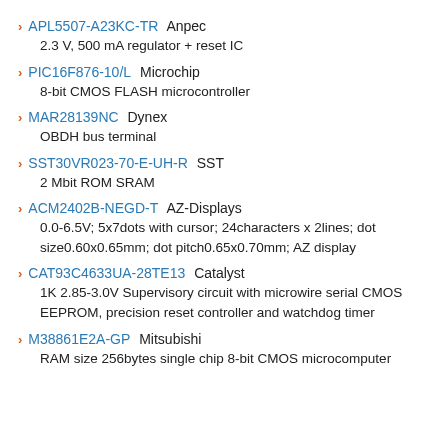APL5507-A23KC-TR Anpec
2.3 V, 500 mA regulator + reset IC
PIC16F876-10/L Microchip
8-bit CMOS FLASH microcontroller
MAR28139NC Dynex
OBDH bus terminal
SST30VR023-70-E-UH-R SST
2 Mbit ROM SRAM
ACM2402B-NEGD-T AZ-Displays
0.0-6.5V; 5x7dots with cursor; 24characters x 2lines; dot size0.60x0.65mm; dot pitch0.65x0.70mm; AZ display
CAT93C4633UA-28TE13 Catalyst
1K 2.85-3.0V Supervisory circuit with microwire serial CMOS EEPROM, precision reset controller and watchdog timer
M38861E2A-GP Mitsubishi
RAM size 256bytes single chip 8-bit CMOS microcomputer